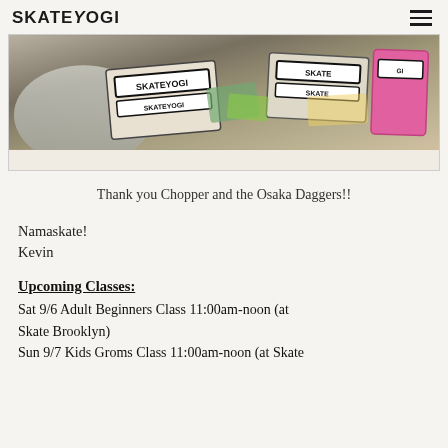SKATEYOGI
[Figure (photo): Close-up photo of skateboards and stickers including multiple SKATEYOGI branded stickers, held by a person in a grey tank top]
Thank you Chopper and the Osaka Daggers!!
Namaskate!
Kevin
Upcoming Classes:
Sat 9/6 Adult Beginners Class 11:00am-noon (at Skate Brooklyn)
Sun 9/7 Kids Groms Class 11:00am-noon (at Skate